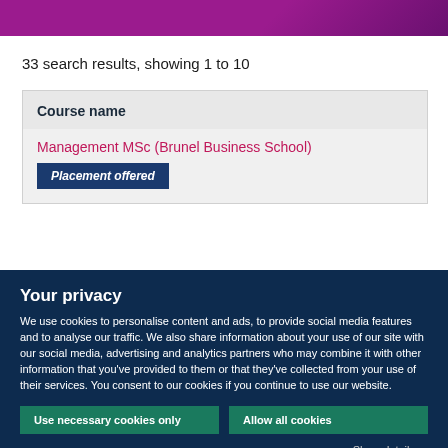[Figure (other): Purple/magenta gradient header banner]
33 search results, showing 1 to 10
| Course name |
| --- |
| Management MSc (Brunel Business School)
Placement offered |
Your privacy
We use cookies to personalise content and ads, to provide social media features and to analyse our traffic. We also share information about your use of our site with our social media, advertising and analytics partners who may combine it with other information that you've provided to them or that they've collected from your use of their services. You consent to our cookies if you continue to use our website.
Use necessary cookies only
Allow all cookies
Show details